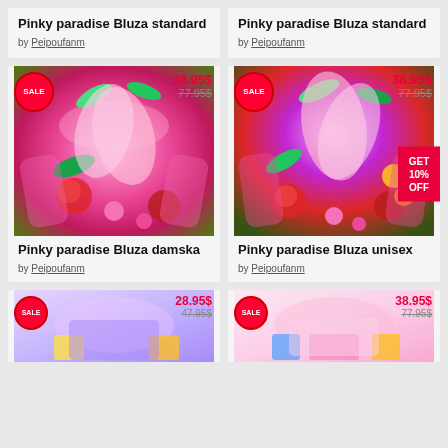Pinky paradise Bluza standard
by Peipoufanm
Pinky paradise Bluza standard
by Peipoufanm
[Figure (photo): Floral long-sleeve shirt with pink flowers, SALE badge, price 38.95$ (was 77.95$)]
Pinky paradise Bluza damska
by Peipoufanm
[Figure (photo): Floral long-sleeve shirt with pink flowers, SALE badge, price 38.95$ (was 77.95$)]
Pinky paradise Bluza unisex
by Peipoufanm
[Figure (photo): Floral t-shirt, SALE badge, price 28.95$ (was 47.95$)]
[Figure (photo): Floral t-shirt, SALE badge, price 38.95$ (was 77.95$)]